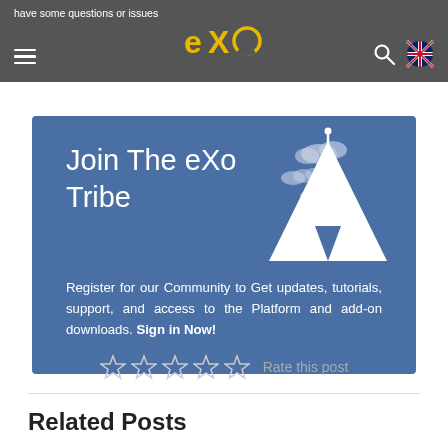have some questions or issues
[Figure (screenshot): eXo platform logo in the navigation bar with hamburger menu, search icon, and UK flag icon]
[Figure (illustration): Blue banner with white teepee/tent illustration and cloud shapes on the right side. Text reads: Join The eXo Tribe. Register for our Community to Get updates, tutorials, support, and access to the Platform and add-on downloads. Sign in Now!]
Register for our Community to Get updates, tutorials, support, and access to the Platform and add-on downloads. Sign in Now!
Rate this post
Related Posts